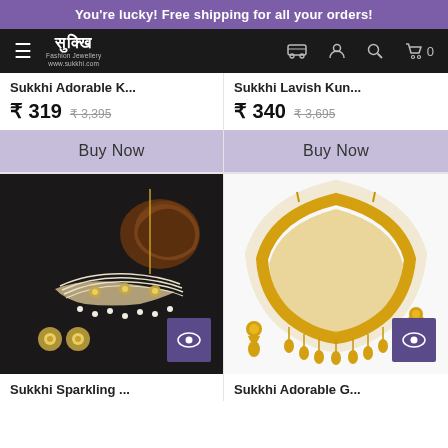You're lucky! Free shipping for all your orders!
[Figure (screenshot): Sukkhi fashion jewellery website navigation bar with hamburger menu, logo, delivery truck icon, user icon, search icon, and cart icon showing 0 items]
Sukkhi Adorable K...
₹ 319   ₹ 3,395
Buy Now
Sukkhi Lavish Kun...
₹ 340   ₹ 3,695
Buy Now
[Figure (photo): Pearl and gold choker necklace set with earrings on dark background with quick view eye icon button]
Sukkhi Sparkling ...
[Figure (photo): Gold crescent moon shaped collar necklace with dangling jhumka earrings on white background with quick view eye icon button]
Sukkhi Adorable G...